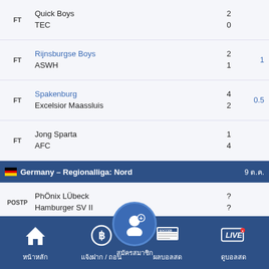| Status | Teams | Score | Odds |
| --- | --- | --- | --- |
| FT | Quick Boys / TEC | 2 / 0 |  |
| FT | Rijnsburgse Boys / ASWH | 2 / 1 | 1 |
| FT | Spakenburg / Excelsior Maassluis | 4 / 2 | 0.5 |
| FT | Jong Sparta / AFC | 1 / 4 |  |
| Germany – Regionalliga: Nord |  |  | 9 ต.ค. |
| POSTP | PhÖnix LÜbeck / Hamburger SV II | ? / ? |  |
| FT | Heider SV / Eintracht Norderstedt | 2 / 2 | 1/1.5 |
| FT | Oberendiland | 0 / 1 | 0/0.5 |
[Figure (screenshot): Bottom navigation bar with icons: หน้าหลัก (home), แจ้งฝาก/ถอน (deposit/withdraw), สมัครสมาชิก (register, center prominent circle), ผลบอลสด (live scores soccer), ดูบอลสด (watch live)]